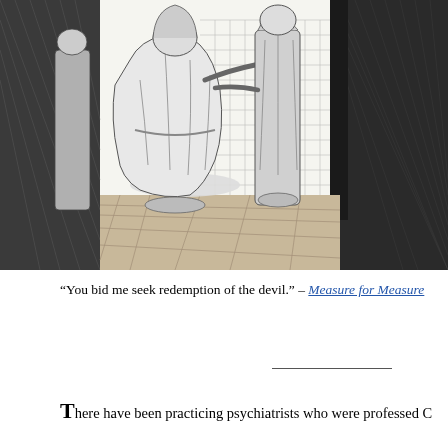[Figure (illustration): Black and white engraving illustration showing multiple figures in historical/Renaissance dress. A kneeling figure in robes appears to be supplicating before a standing figure, with other figures visible in the background. The scene appears to be from a stage production or literary illustration, rendered in fine crosshatch engraving style.]
“You bid me seek redemption of the devil.” – Measure for Measure
There have been practicing psychiatrists who were professed C